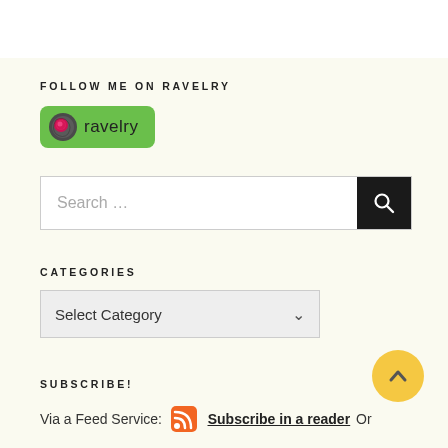FOLLOW ME ON RAVELRY
[Figure (logo): Ravelry green badge logo with pink ball of yarn icon and text 'ravelry']
[Figure (screenshot): Search input box with placeholder text 'Search ...' and black search button with magnifying glass icon]
CATEGORIES
[Figure (screenshot): Dropdown selector showing 'Select Category' with a chevron arrow]
SUBSCRIBE!
Via a Feed Service: Subscribe in a reader Or